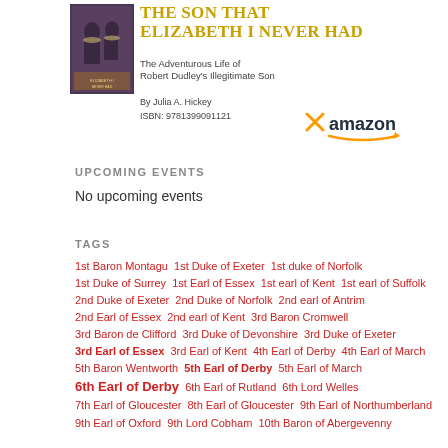[Figure (illustration): Book cover thumbnail showing a dark portrait image of historical figures]
THE SON THAT ELIZABETH I NEVER HAD
The Adventurous Life of Robert Dudley's Illegitimate Son
By Julia A. Hickey
ISBN: 9781399091121
[Figure (logo): Amazon logo with X icon]
UPCOMING EVENTS
No upcoming events
TAGS
1st Baron Montagu  1st Duke of Exeter  1st duke of Norfolk
1st Duke of Surrey  1st Earl of Essex  1st earl of Kent  1st earl of Suffolk
2nd Duke of Exeter  2nd Duke of Norfolk  2nd earl of Antrim
2nd Earl of Essex  2nd earl of Kent  3rd Baron Cromwell
3rd Baron de Clifford  3rd Duke of Devonshire  3rd Duke of Exeter
3rd Earl of Essex  3rd Earl of Kent  4th Earl of Derby  4th Earl of March
5th Baron Wentworth  5th Earl of Derby  5th Earl of March
6th Earl of Derby  6th Earl of Rutland  6th Lord Welles
7th Earl of Gloucester  8th Earl of Gloucester  9th Earl of Northumberland
9th Earl of Oxford  9th Lord Cobham  10th Baron of Abergevenny